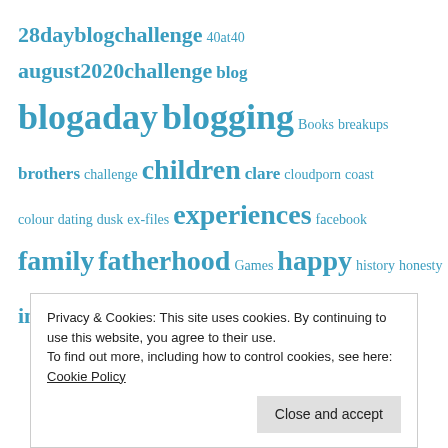[Figure (infographic): Tag cloud of blog-related keywords in varying sizes and shades of blue, including: 28dayblogchallenge, 40at40, august2020challenge, blog, blogaday, blogging, Books, breakups, brothers, challenge, children, clare, cloudporn, coast, colour, dating, dusk, ex-files, experiences, facebook, family, fatherhood, Games, happy, history, honesty, instagram, januaryphotoadaychallenge, kids, life]
Privacy & Cookies: This site uses cookies. By continuing to use this website, you agree to their use.
To find out more, including how to control cookies, see here:
Cookie Policy
Close and accept